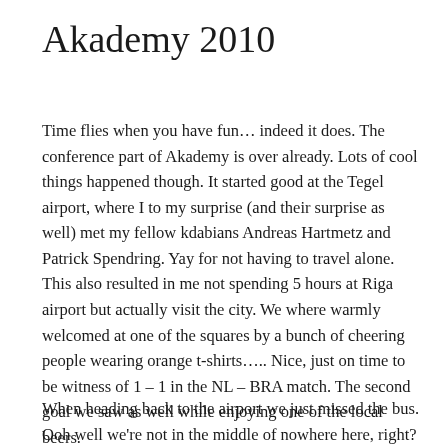Akademy 2010
Time flies when you have fun… indeed it does. The conference part of Akademy is over already. Lots of cool things happened though. It started good at the Tegel airport, where I to my surprise (and their surprise as well) met my fellow kdabians Andreas Hartmetz and Patrick Spendring. Yay for not having to travel alone. This also resulted in me not spending 5 hours at Riga airport but actually visit the city. We where warmly welcomed at one of the squares by a bunch of cheering people wearing orange t-shirts….. Nice, just on time to be witness of 1 – 1 in the NL – BRA match. The second goal we saw as well while enjoying one of the local beers.
When heading back to the airport we just missed the bus. Ooh well we're not in the middle of nowhere here, right?